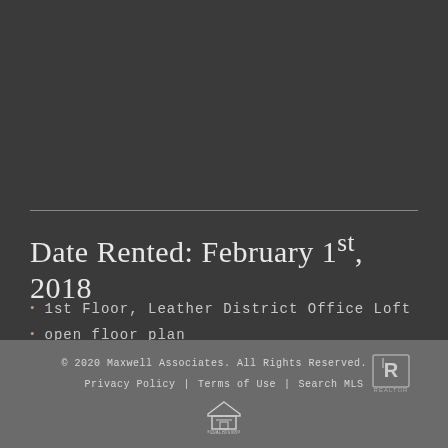Date Rented: February 1st, 2018
1st Floor, Leather District Office Loft
open floor plan
1000 SF±
© 2020 Maxwell Associates. All Rights Reserved.  |  Privacy Policy  |  Terms of Use  |  Search MLS